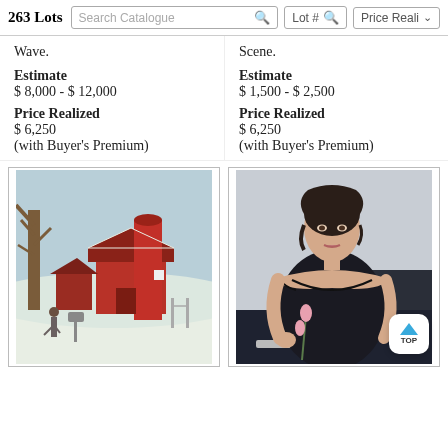263 Lots | Search Catalogue | Lot # | Price Reali
Wave.
Scene.
Estimate
$ 8,000 - $ 12,000
Estimate
$ 1,500 - $ 2,500
Price Realized
$ 6,250
(with Buyer's Premium)
Price Realized
$ 6,250
(with Buyer's Premium)
[Figure (photo): Painting of a winter farm scene with a red barn and silo, bare trees, and figures in snow]
[Figure (photo): Portrait painting of a woman in a black off-shoulder dress seated, holding flowers]